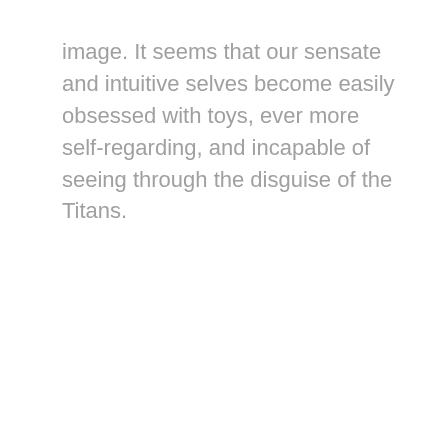image. It seems that our sensate and intuitive selves become easily obsessed with toys, ever more self-regarding, and incapable of seeing through the disguise of the Titans.